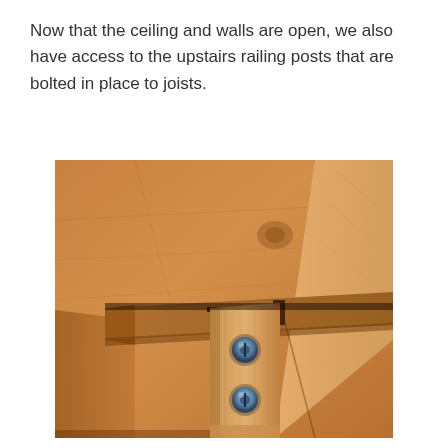Now that the ceiling and walls are open, we also have access to the upstairs railing posts that are bolted in place to joists.
[Figure (photo): Close-up photograph of a wooden railing post bolted to ceiling joists with two visible blue bolts/screws, showing the underside of the floor structure with exposed wood beams and plywood subfloor.]